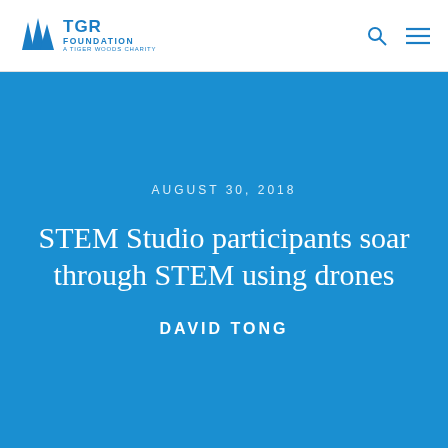TGR FOUNDATION A TIGER WOODS CHARITY
AUGUST 30, 2018
STEM Studio participants soar through STEM using drones
DAVID TONG